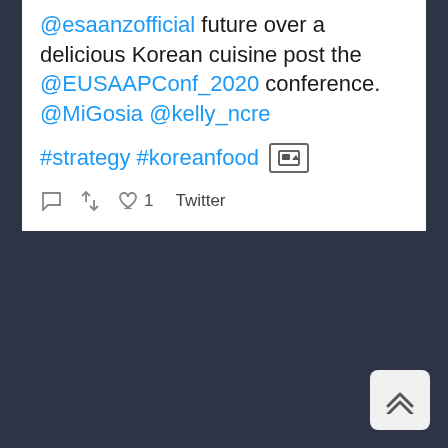@esaanzofficial future over a delicious Korean cuisine post the @EUSAAPConf_2020 conference. @MiGosia @kelly_ncre
#strategy #koreanfood [image icon]
comment retweet like 1  Twitter
[Figure (logo): ESAANZ logo with text 'European Studies Association Australia and New Zealand']
P.O. Box 2125
Hawthorn, 3122
Victoria, Australia